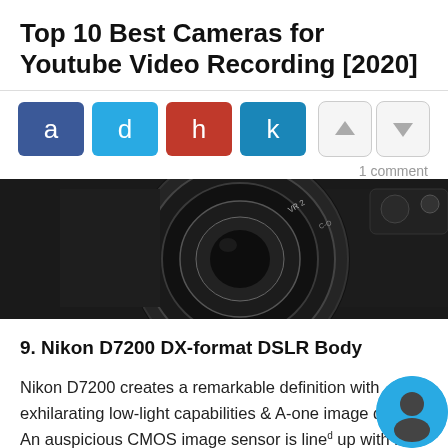Top 10 Best Cameras for Youtube Video Recording [2020]
[Figure (screenshot): Social sharing buttons (a, d, h, k) and vote up/down buttons with 1 comment count]
[Figure (photo): Close-up photo of a black Nikon camera lens and body top portion]
9. Nikon D7200 DX-format DSLR Body
Nikon D7200 creates a remarkable definition with exhilarating low-light capabilities & A-one image quality. An auspicious CMOS image sensor is lined up with no-optical low pass filter to preserve sharp photos & videos with an ISO range of 25,6...